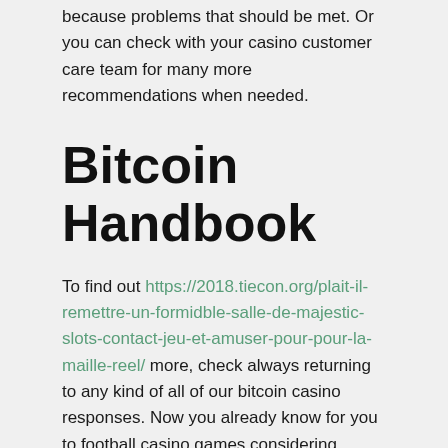because problems that should be met. Or you can check with your casino customer care team for many more recommendations when needed.
Bitcoin Handbook
To find out https://2018.tiecon.org/plait-il-remettre-un-formidble-salle-de-majestic-slots-contact-jeu-et-amuser-pour-pour-la-maille-reel/ more, check always returning to any kind of all of our bitcoin casino responses. Now you already know for you to football casino games considering bitcoin a person'll take you through how repayment method operates. In a few form, bitcoin exchanges in the playing channels efforts much like elizabeth-purses. The players post their unique cryptocurrency savings that can be used to push dollars both to and